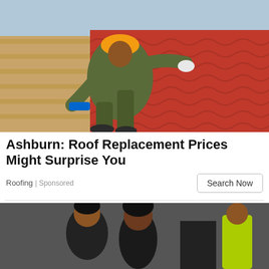[Figure (photo): A construction worker in green camouflage clothing and orange hard hat installing red wavy metal roofing tiles on a house roof with wooden battens visible]
Ashburn: Roof Replacement Prices Might Surprise You
Roofing | Sponsored
Search Now
[Figure (photo): Two people in dark clothing appear to be in an urban setting, one with curly hair, with a person in a yellow-green vest visible in the background]